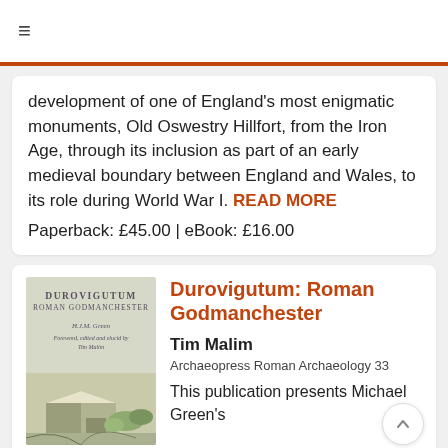≡
development of one of England's most enigmatic monuments, Old Oswestry Hillfort, from the Iron Age, through its inclusion as part of an early medieval boundary between England and Wales, to its role during World War I. READ MORE
Paperback: £45.00 | eBook: £16.00
[Figure (illustration): Book cover for Durovigutum: Roman Godmanchester, grey-green cover with architectural illustration, author H.J.M. Green, edited by Tim Malim]
Durovigutum: Roman Godmanchester
Tim Malim
Archaeopress Roman Archaeology 33
This publication presents Michael Green's